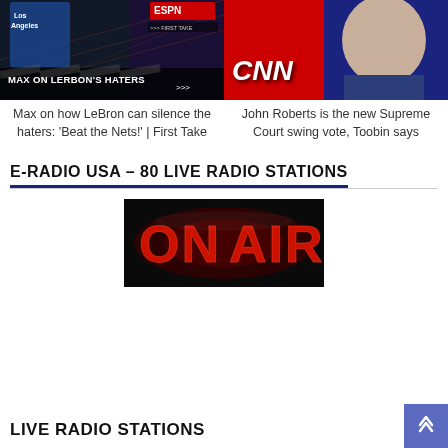[Figure (screenshot): ESPN First Take thumbnail showing LeBron James and Max Kellerman with text 'MAX ON LEBRON'S HATERS']
[Figure (screenshot): CNN thumbnail showing John Roberts with CNN logo overlay]
Max on how LeBron can silence the haters: ‘Beat the Nets!’ | First Take
John Roberts is the new Supreme Court swing vote, Toobin says
E-RADIO USA – 80 LIVE RADIO STATIONS
[Figure (photo): ON AIR sign with red glowing letters on black background]
LIVE RADIO STATIONS